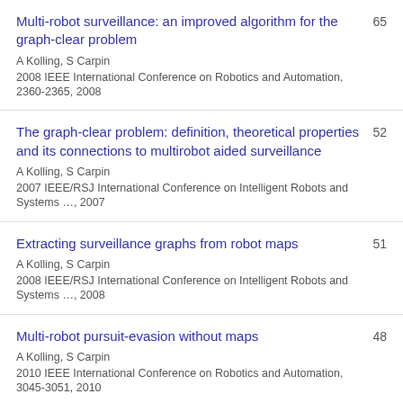Multi-robot surveillance: an improved algorithm for the graph-clear problem | A Kolling, S Carpin | 2008 IEEE International Conference on Robotics and Automation, 2360-2365, 2008 | 65
The graph-clear problem: definition, theoretical properties and its connections to multirobot aided surveillance | A Kolling, S Carpin | 2007 IEEE/RSJ International Conference on Intelligent Robots and Systems …, 2007 | 52
Extracting surveillance graphs from robot maps | A Kolling, S Carpin | 2008 IEEE/RSJ International Conference on Intelligent Robots and Systems …, 2008 | 51
Multi-robot pursuit-evasion without maps | A Kolling, S Carpin | 2010 IEEE International Conference on Robotics and Automation, 3045-3051, 2010 | 48